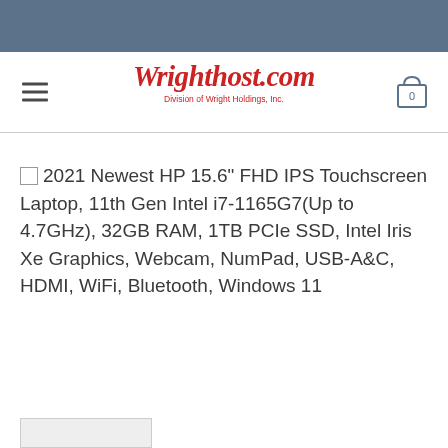Wrighthost.com — Division of Wright Holdings, Inc.
2021 Newest HP 15.6" FHD IPS Touchscreen Laptop, 11th Gen Intel i7-1165G7(Up to 4.7GHz), 32GB RAM, 1TB PCIe SSD, Intel Iris Xe Graphics, Webcam, NumPad, USB-A&C, HDMI, WiFi, Bluetooth, Windows 11